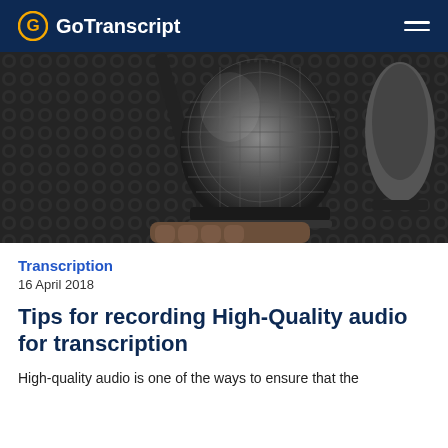GoTranscript
[Figure (photo): Close-up photograph of a professional microphone in a recording studio with acoustic foam paneling in the background]
Transcription
16 April 2018
Tips for recording High-Quality audio for transcription
High-quality audio is one of the ways to ensure that the